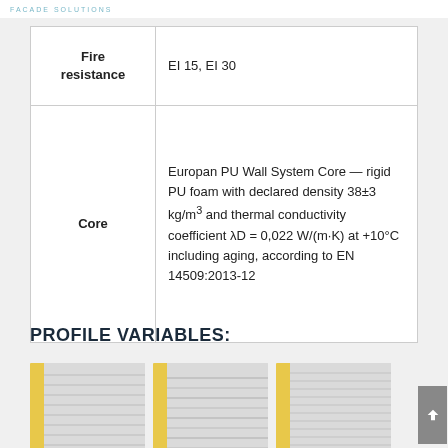FACADE SOLUTIONS
| Property | Value |
| --- | --- |
| Fire resistance | EI 15, EI 30 |
| Core | Europan PU Wall System Core — rigid PU foam with declared density 38±3 kg/m³ and thermal conductivity coefficient λD = 0,022 W/(m·K) at +10°C including aging, according to EN 14509:2013-12 |
PROFILE VARIABLES:
[Figure (photo): Three wall panel profile variants shown side by side, each with yellow edge and ribbed grey surface pattern.]